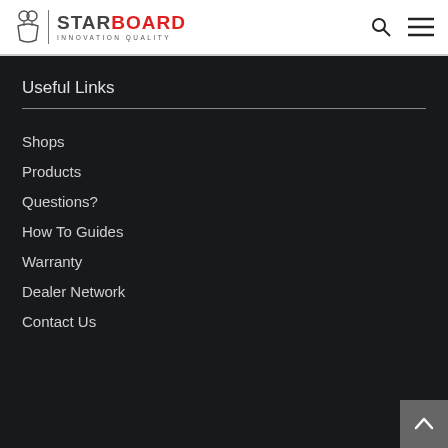STARBOARD INNOVATION QUALITY
Useful Links
Shops
Products
Questions?
How To Guides
Warranty
Dealer Network
Contact Us